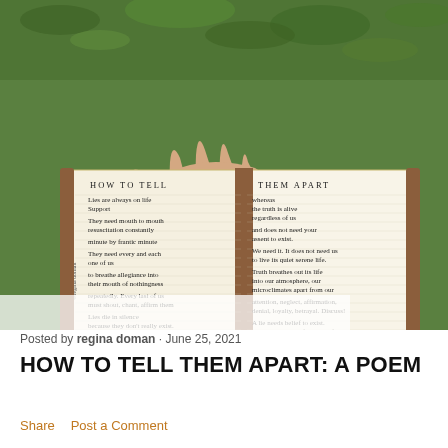[Figure (photo): A hand holding open a small notebook/journal over grass. The notebook shows a handwritten poem titled 'HOW TO TELL THEM APART' split across two pages. Left page: 'Lies are always on life support / They need mouth to mouth resuscitation constantly / minute by frantic minute / They need every and each one of us / to breathe allegiance into their mouth of nothingness / repeatedly. Every last of us must shout, chant, affirm them / Lies die in silence because they don't really exist.' Right page: 'whereas the truth is alive regardless of us / and does not need your assent to exist. / We need it. It does not need us to live its quiet serene life. / Truth breathes out its life into our atmosphere, our microclimates apart from our / attention, neglect, affirmation, denial, loyalty, betrayal. Discuss! / A lie needs belief to exist. Truth exists apart from belief.' Copyright mark: ©regina doman]
Posted by regina doman · June 25, 2021
HOW TO TELL THEM APART: A POEM
Share   Post a Comment